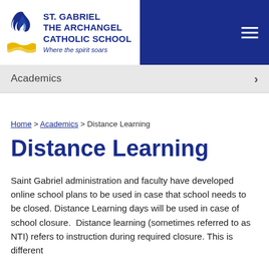[Figure (logo): St. Gabriel the Archangel Catholic School logo with flame and wave graphic and school name text]
Academics
Home > Academics > Distance Learning
Distance Learning
Saint Gabriel administration and faculty have developed online school plans to be used in case that school needs to be closed. Distance Learning days will be used in case of school closure.  Distance learning (sometimes referred to as NTI) refers to instruction during required closure. This is different